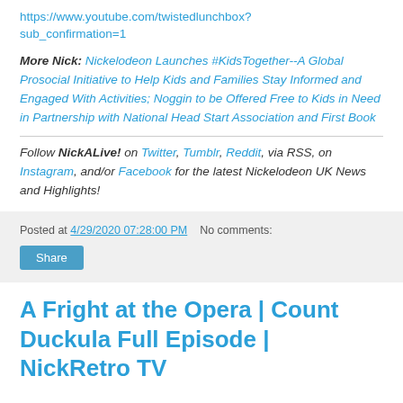https://www.youtube.com/twistedlunchbox?sub_confirmation=1
More Nick: Nickelodeon Launches #KidsTogether--A Global Prosocial Initiative to Help Kids and Families Stay Informed and Engaged With Activities; Noggin to be Offered Free to Kids in Need in Partnership with National Head Start Association and First Book
Follow NickALive! on Twitter, Tumblr, Reddit, via RSS, on Instagram, and/or Facebook for the latest Nickelodeon UK News and Highlights!
Posted at 4/29/2020 07:28:00 PM   No comments:
Share
A Fright at the Opera | Count Duckula Full Episode | NickRetro TV